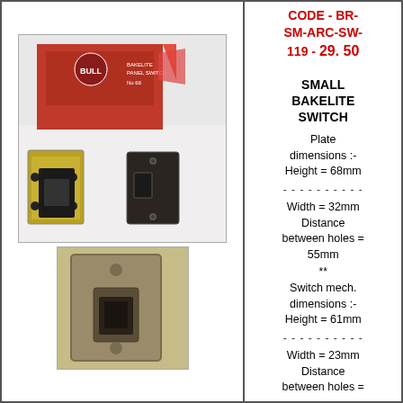[Figure (photo): Photo of small bakelite switch with original red box packaging, showing switch mechanism components including the switch plate and internal mechanism]
CODE - BR-SM-ARC-SW-119 - 29. 50
SMALL BAKELITE SWITCH
Plate dimensions :- Height = 68mm
- - - - - - - - - -
Width = 32mm
Distance between holes = 55mm
**
Switch mech. dimensions :- Height = 61mm
- - - - - - - - - -
Width = 23mm
Distance between holes =